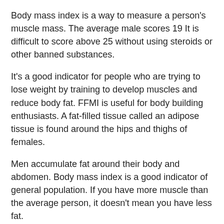Body mass index is a way to measure a person's muscle mass. The average male scores 19 It is difficult to score above 25 without using steroids or other banned substances.
It's a good indicator for people who are trying to lose weight by training to develop muscles and reduce body fat. FFMI is useful for body building enthusiasts. A fat-filled tissue called an adipose tissue is found around the hips and thighs of females.
Men accumulate fat around their body and abdomen. Body mass index is a good indicator of general population. If you have more muscle than the average person, it doesn't mean you have less fat.
It only accounts for the total body weight. Your body needs the right amount of fat to be healthy.